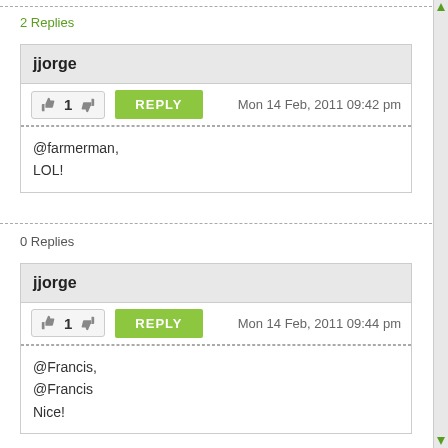2 Replies
jjorge
Mon 14 Feb, 2011 09:42 pm
@farmerman,
LOL!
0 Replies
jjorge
Mon 14 Feb, 2011 09:44 pm
@Francis,
@Francis
Nice!